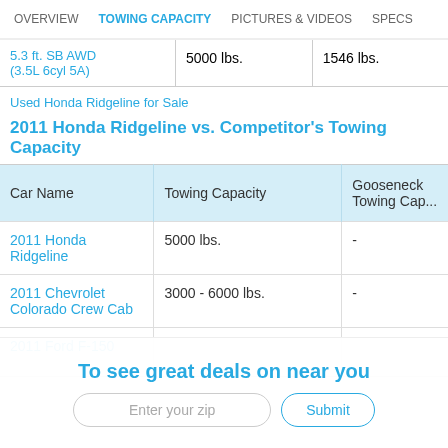OVERVIEW | TOWING CAPACITY | PICTURES & VIDEOS | SPECS
|  |  |  |
| --- | --- | --- |
| 5.3 ft. SB AWD (3.5L 6cyl 5A) | 5000 lbs. | 1546 lbs. |
Used Honda Ridgeline for Sale
2011 Honda Ridgeline vs. Competitor's Towing Capacity
| Car Name | Towing Capacity | Gooseneck Towing Cap... |
| --- | --- | --- |
| 2011 Honda Ridgeline | 5000 lbs. | - |
| 2011 Chevrolet Colorado Crew Cab | 3000 - 6000 lbs. | - |
| 2011 Ford F-150 | ... |  |
To see great deals on near you
Enter your zip | Submit